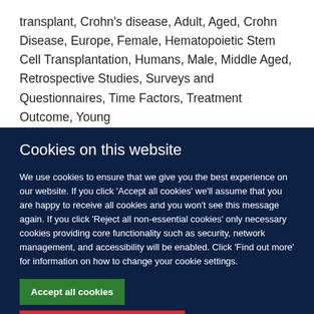transplant, Crohn's disease, Adult, Aged, Crohn Disease, Europe, Female, Hematopoietic Stem Cell Transplantation, Humans, Male, Middle Aged, Retrospective Studies, Surveys and Questionnaires, Time Factors, Treatment Outcome, Young
Cookies on this website
We use cookies to ensure that we give you the best experience on our website. If you click 'Accept all cookies' we'll assume that you are happy to receive all cookies and you won't see this message again. If you click 'Reject all non-essential cookies' only necessary cookies providing core functionality such as security, network management, and accessibility will be enabled. Click 'Find out more' for information on how to change your cookie settings.
Accept all cookies
Reject all non-essential cookies
Find out more